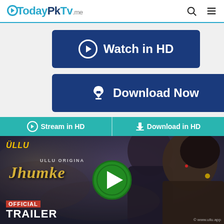TodayPkTv.me
[Figure (screenshot): Watch in HD button - dark blue rectangular button with play icon and text 'Watch in HD']
[Figure (screenshot): Download Now button - dark blue rectangular button with cloud download icon and text 'Download Now']
Stream in HD   Download in HD
[Figure (screenshot): Ullu Originals Jhumke official trailer thumbnail with two actors, green play button overlay, ULLU logo, and Official Trailer text. Watermark: www.ullu.app]